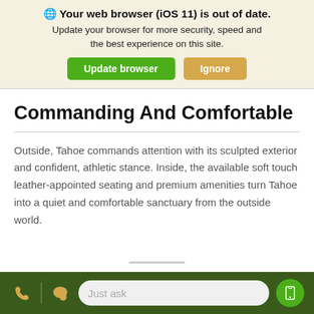[Figure (screenshot): Browser update notification banner with globe icon, bold title 'Your web browser (iOS 11) is out of date.', subtitle text, and two buttons: 'Update browser' (green) and 'Ignore' (orange/tan)]
Commanding And Comfortable
Outside, Tahoe commands attention with its sculpted exterior and confident, athletic stance. Inside, the available soft touch leather-appointed seating and premium amenities turn Tahoe into a quiet and comfortable sanctuary from the outside world.
Just ask